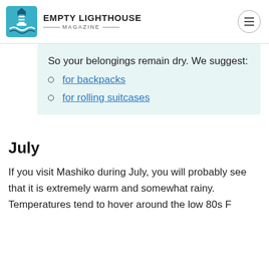EMPTY LIGHTHOUSE MAGAZINE
So your belongings remain dry. We suggest:
for backpacks
for rolling suitcases
July
If you visit Mashiko during July, you will probably see that it is extremely warm and somewhat rainy. Temperatures tend to hover around the low 80s F